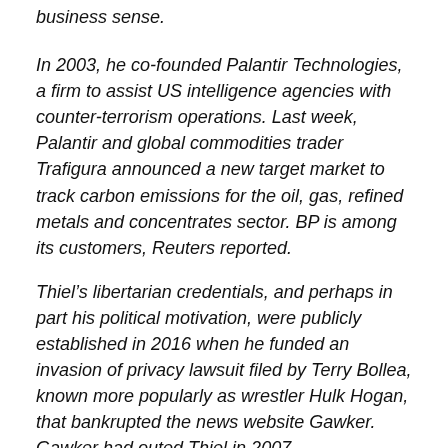business sense.
In 2003, he co-founded Palantir Technologies, a firm to assist US intelligence agencies with counter-terrorism operations. Last week, Palantir and global commodities trader Trafigura announced a new target market to track carbon emissions for the oil, gas, refined metals and concentrates sector. BP is among its customers, Reuters reported.
Thiel's libertarian credentials, and perhaps in part his political motivation, were publicly established in 2016 when he funded an invasion of privacy lawsuit filed by Terry Bollea, known more popularly as wrestler Hulk Hogan, that bankrupted the news website Gawker. Gawker had outed Thiel in 2007.
“It’s less about revenge and more about specific